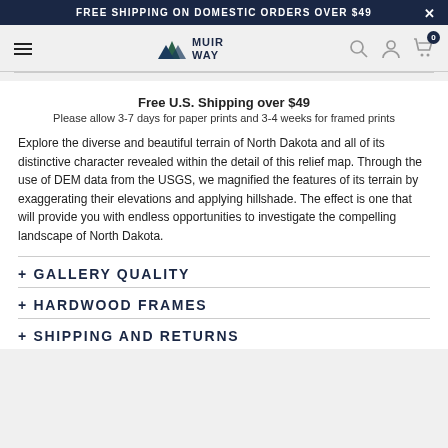FREE SHIPPING ON DOMESTIC ORDERS OVER $49
[Figure (logo): Muir Way logo with mountain icon and text MUIR WAY]
Free U.S. Shipping over $49
Please allow 3-7 days for paper prints and 3-4 weeks for framed prints
Explore the diverse and beautiful terrain of North Dakota and all of its distinctive character revealed within the detail of this relief map. Through the use of DEM data from the USGS, we magnified the features of its terrain by exaggerating their elevations and applying hillshade. The effect is one that will provide you with endless opportunities to investigate the compelling landscape of North Dakota.
+ GALLERY QUALITY
+ HARDWOOD FRAMES
+ SHIPPING AND RETURNS